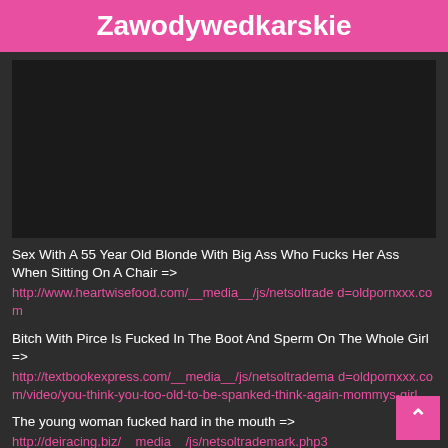Zawodywedkarskie
[Figure (other): Dark/black video player placeholder area]
Sex With A 55 Year Old Blonde With Big Ass Who Fucks Her Ass When Sitting On A Chair => http://www.heartwisefood.com/__media__/js/netsoltrade d=oldpornxxx.com
Bitch With Pirce Is Fucked In The Boot And Sperm On The Whole Girl => http://textbookexpress.com/__media__/js/netsoltrademd=oldpornxxx.com/video/you-think-you-too-old-to-be-spanked-think-again-mommys-girl
The young woman fucked hard in the mouth => http://deiracing.biz/__media__/js/netsoltrademark.php3